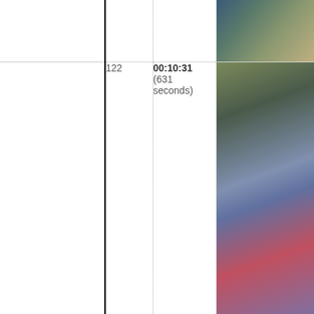|  | # | Timestamp | Frame |
| --- | --- | --- | --- |
|  |  |  |  |
|  | 122 | 00:10:31
(631 seconds) | [video frame] |
|  | 123 | 00:10:36
(636 seconds) | [video frame] |
|  | 124 | 00:10:39
(639 seconds) | [video frame] |